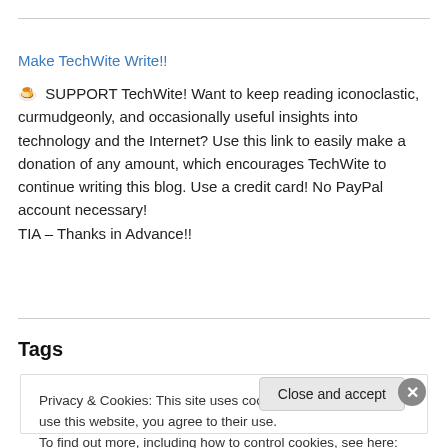Make TechWite Write!!
🍮  SUPPORT TechWite! Want to keep reading iconoclastic, curmudgeonly, and occasionally useful insights into technology and the Internet? Use this link to easily make a donation of any amount, which encourages TechWite to continue writing this blog. Use a credit card! No PayPal account necessary!
TIA – Thanks in Advance!!
Tags
Privacy & Cookies: This site uses cookies. By continuing to use this website, you agree to their use.
To find out more, including how to control cookies, see here: Cookie Policy
Close and accept